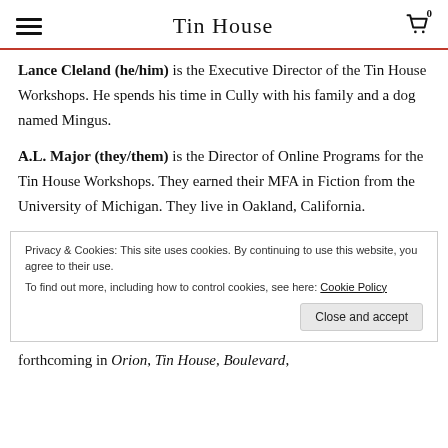Tin House
Lance Cleland (he/him) is the Executive Director of the Tin House Workshops. He spends his time in Cully with his family and a dog named Mingus.
A.L. Major (they/them) is the Director of Online Programs for the Tin House Workshops. They earned their MFA in Fiction from the University of Michigan. They live in Oakland, California.
Privacy & Cookies: This site uses cookies. By continuing to use this website, you agree to their use. To find out more, including how to control cookies, see here: Cookie Policy
forthcoming in Orion, Tin House, Boulevard,